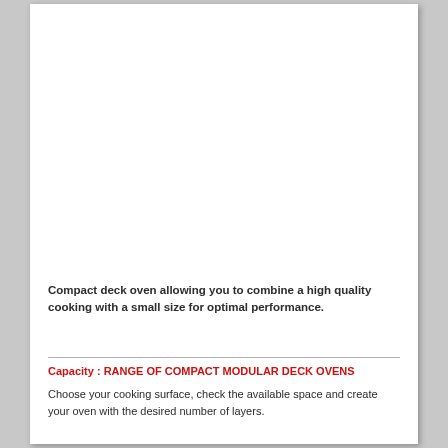[Figure (photo): Large white/blank image area showing a compact deck oven product photo (image content not visible/white area)]
Compact deck oven allowing you to combine a high quality cooking with a small size for optimal performance.
Capacity : RANGE OF COMPACT MODULAR DECK OVENS
Choose your cooking surface, check the available space and create your oven with the desired number of layers.